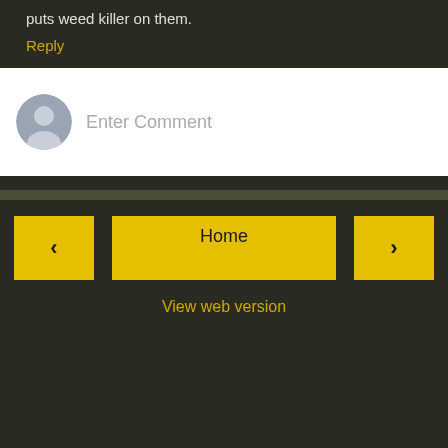puts weed killer on them.
Reply
[Figure (screenshot): Comment input box with avatar placeholder and 'Enter Comment' placeholder text]
Home
View web version